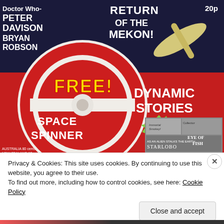[Figure (illustration): Magazine cover showing a red and white vinyl record/space spinner toy with 'FREE!' and 'SPACE SPINNER' text in yellow/white. Background shows sci-fi imagery. Text includes 'Doctor Who- PETER DAVISON BRYAN ROBSON', 'RETURN OF THE MEKON!', '20p', 'DYNAMIC STORIES TOLD IN EXCITING PHOTOS AND PICS!', 'EYE OF FISH', 'AS AN ALIEN STALKS THE EARTH', 'AUSTRALIA 80 cents NEW ZEALAND 90 cents']
Privacy & Cookies: This site uses cookies. By continuing to use this website, you agree to their use.
To find out more, including how to control cookies, see here: Cookie Policy
Close and accept